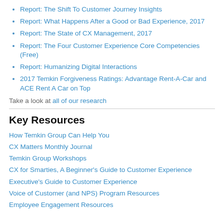Report: The Shift To Customer Journey Insights
Report: What Happens After a Good or Bad Experience, 2017
Report: The State of CX Management, 2017
Report: The Four Customer Experience Core Competencies (Free)
Report: Humanizing Digital Interactions
2017 Temkin Forgiveness Ratings: Advantage Rent-A-Car and ACE Rent A Car on Top
Take a look at all of our research
Key Resources
How Temkin Group Can Help You
CX Matters Monthly Journal
Temkin Group Workshops
CX for Smarties, A Beginner's Guide to Customer Experience
Executive's Guide to Customer Experience
Voice of Customer (and NPS) Program Resources
Employee Engagement Resources